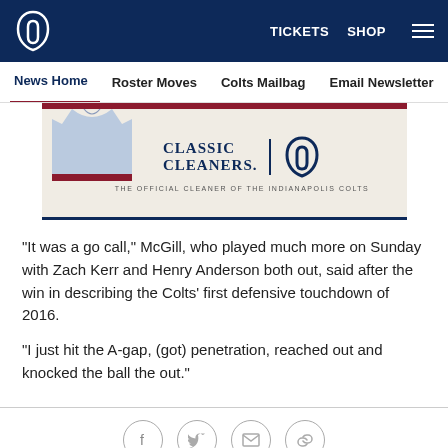Indianapolis Colts - TICKETS  SHOP (hamburger menu)
News Home  Roster Moves  Colts Mailbag  Email Newsletter  U...
[Figure (logo): Classic Cleaners - The Official Cleaner of the Indianapolis Colts advertisement banner with Colts horseshoe logo]
"It was a go call," McGill, who played much more on Sunday with Zach Kerr and Henry Anderson both out, said after the win in describing the Colts' first defensive touchdown of 2016.
"I just hit the A-gap, (got) penetration, reached out and knocked the ball the out."